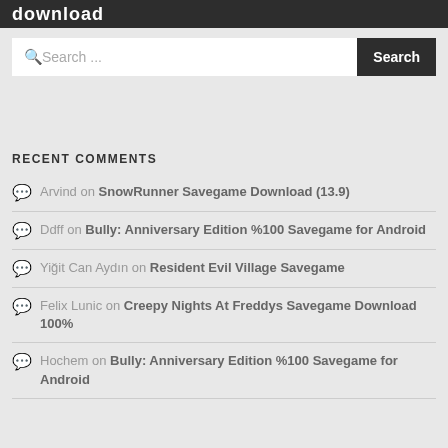download
Search ...
RECENT COMMENTS
Arvind on SnowRunner Savegame Download (13.9)
Ddff on Bully: Anniversary Edition %100 Savegame for Android
Yiğit Can Aydın on Resident Evil Village Savegame
Felix Lunic on Creepy Nights At Freddys Savegame Download 100%
Hochem on Bully: Anniversary Edition %100 Savegame for Android